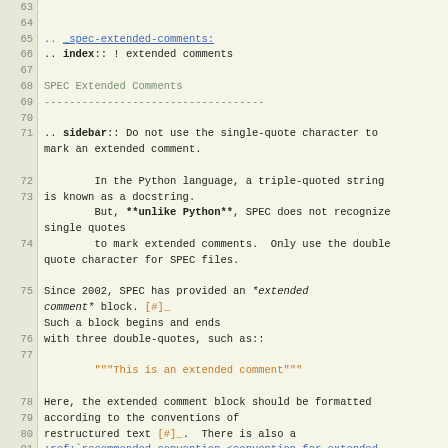Line numbers 63-89 with code content showing SPEC extended comments documentation
65: .. _spec-extended-comments:
66: .. index:: ! extended comments
68: SPEC Extended Comments
69: -----------------------------------
71: .. sidebar:: Do not use the single-quote character to mark an extended comment.
73:     In the Python language, a triple-quoted string is known as a docstring.
74:     But, **unlike Python**, SPEC does not recognize single quotes
75:     to mark extended comments.  Only use the double quote character for SPEC files.
77: Since 2002, SPEC has provided an *extended comment* block. [#]_
78: Such a block begins and ends
79: with three double-quotes, such as::
81:         """This is an extended comment"""
83: Here, the extended comment block should be formatted according to the conventions of
84: restructured text [#]_.  There is also a
85: :ref:`recommended convention <convention for extended comment>`
86: for using extended comments in SPEC macro files.